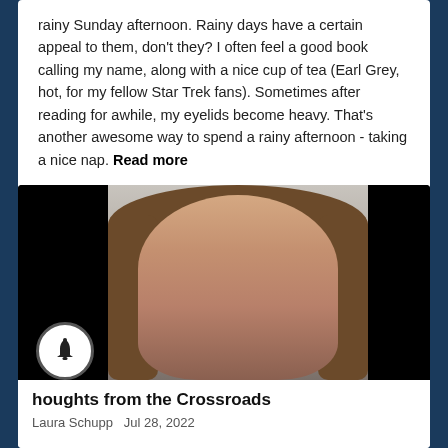rainy Sunday afternoon. Rainy days have a certain appeal to them, don't they? I often feel a good book calling my name, along with a nice cup of tea (Earl Grey, hot, for my fellow Star Trek fans). Sometimes after reading for awhile, my eyelids become heavy. That's another awesome way to spend a rainy afternoon - taking a nice nap. Read more
[Figure (photo): Portrait photograph of a woman with long brown hair, smiling, against a light grey background. The image has black panels on the left and right sides.]
houghts from the Crossroads
Laura Schupp  Jul 28, 2022